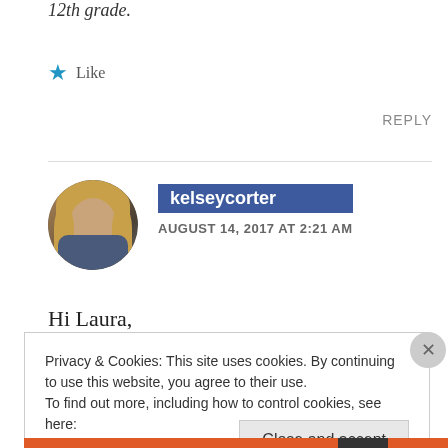12th grade.
★ Like
REPLY
kelseycorter
AUGUST 14, 2017 AT 2:21 AM
Hi Laura,
Privacy & Cookies: This site uses cookies. By continuing to use this website, you agree to their use.
To find out more, including how to control cookies, see here: Cookie Policy
Close and accept